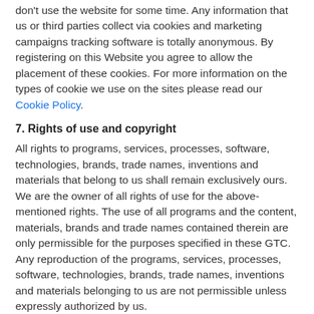don't use the website for some time. Any information that us or third parties collect via cookies and marketing campaigns tracking software is totally anonymous. By registering on this Website you agree to allow the placement of these cookies. For more information on the types of cookie we use on the sites please read our Cookie Policy.
7. Rights of use and copyright
All rights to programs, services, processes, software, technologies, brands, trade names, inventions and materials that belong to us shall remain exclusively ours. We are the owner of all rights of use for the above-mentioned rights. The use of all programs and the content, materials, brands and trade names contained therein are only permissible for the purposes specified in these GTC. Any reproduction of the programs, services, processes, software, technologies, brands, trade names, inventions and materials belonging to us are not permissible unless expressly authorized by us.
8. Liability
8.1 Direct contact is only established between our customers following mutual agreement. We are therefore not liable in the event that no such contact is established within the